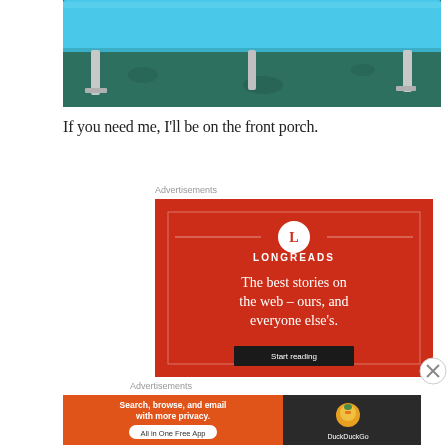[Figure (photo): Photo of a blue bench/seat with metal legs on a green floor, cropped to show lower portion of bench]
If you need me, I'll be on the front porch.
Advertisements
[Figure (illustration): Longreads advertisement on red background: circle logo with L, text 'LONGREADS', tagline 'The best stories on the web – ours, and everyone else's.', with Start reading button]
Advertisements
[Figure (illustration): DuckDuckGo advertisement: orange left panel with 'Search, browse, and email with more privacy. All in One Free App' and dark right panel with DuckDuckGo duck logo and brand name]